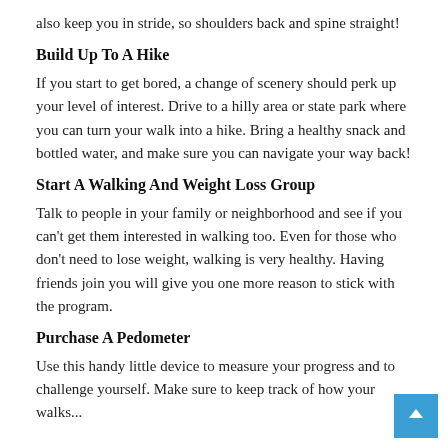also keep you in stride, so shoulders back and spine straight!
Build Up To A Hike
If you start to get bored, a change of scenery should perk up your level of interest. Drive to a hilly area or state park where you can turn your walk into a hike. Bring a healthy snack and bottled water, and make sure you can navigate your way back!
Start A Walking And Weight Loss Group
Talk to people in your family or neighborhood and see if you can't get them interested in walking too. Even for those who don't need to lose weight, walking is very healthy. Having friends join you will give you one more reason to stick with the program.
Purchase A Pedometer
Use this handy little device to measure your progress and to challenge yourself. Make sure to keep track of how your walks...